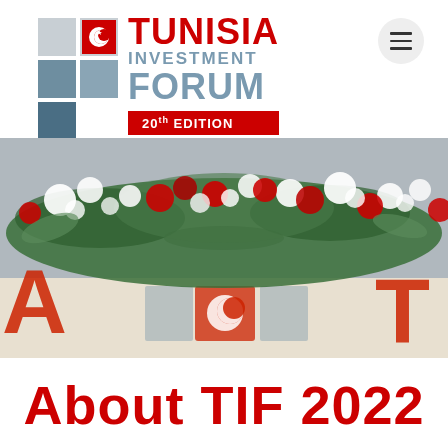[Figure (logo): Tunisia Investment Forum logo with grid of colored squares, TUNISIA INVESTMENT FORUM text, and 20th EDITION red badge]
[Figure (photo): Photo of a floral arrangement with red and white flowers on what appears to be a conference table backdrop with Tunisian flag motifs]
About TIF 2022